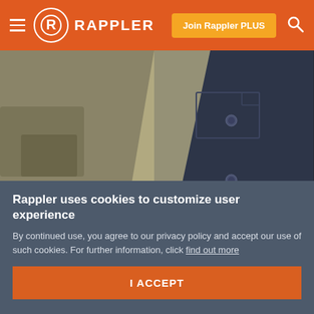Rappler — Join Rappler PLUS
[Figure (photo): Close-up photo of military/uniform shirts — a khaki/brown jacket on the left and a dark navy button-up shirt on the right with chest pockets and small buttons.]
Parents can't attend PMA Class 2020 graduation rites on May 22
May 14, 2020 - 4:36 PM
Rappler uses cookies to customize user experience
By continued use, you agree to our privacy policy and accept our use of such cookies. For further information, click find out more
I ACCEPT